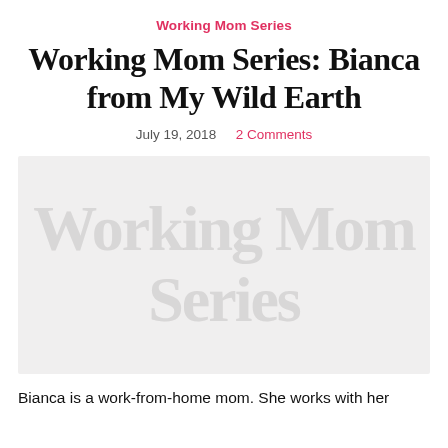Working Mom Series
Working Mom Series: Bianca from My Wild Earth
July 19, 2018    2 Comments
[Figure (photo): A faded/watermarked image with large overlaid text reading 'Working Mom' in light gray, showing a working mom themed graphic.]
Bianca is a work-from-home mom. She works with her